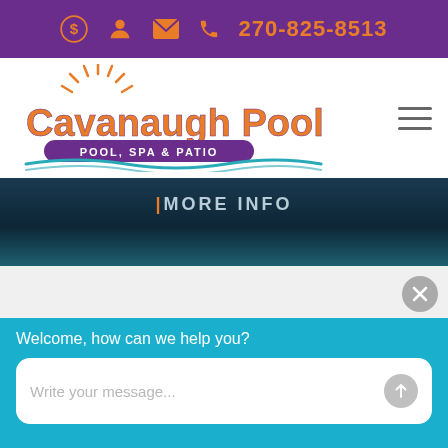270-825-8513
[Figure (logo): Cavanaugh Pool - Pool, Spa & Patio logo with orange sun/wave design and purple text]
| MORE INFO
Welcome, how can we help you?
Write your message...
BUY ONLINE HOME DELIVERY